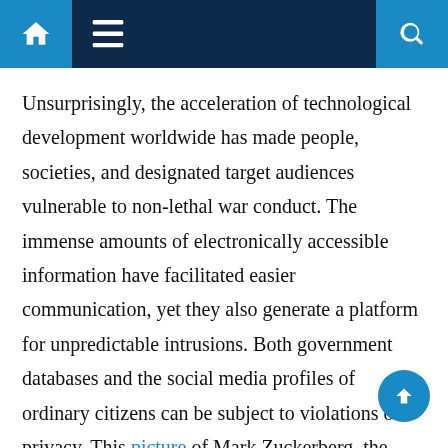Navigation bar with home, menu, and search icons
Unsurprisingly, the acceleration of technological development worldwide has made people, societies, and designated target audiences vulnerable to non-lethal war conduct. The immense amounts of electronically accessible information have facilitated easier communication, yet they also generate a platform for unpredictable intrusions. Both government databases and the social media profiles of ordinary citizens can be subject to violations of privacy. This picture of Mark Zuckerberg, the founder of Facebook, shows how he had covered both the microphone and webcam on his computer. It demonstrates that even the technological elite are afraid of